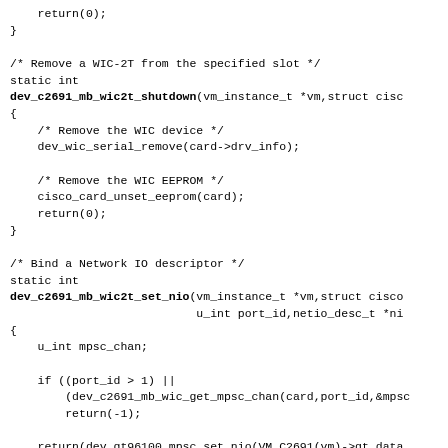Source code fragment showing C functions: dev_c2691_mb_wic2t_shutdown and dev_c2691_mb_wic2t_set_nio, with comments about removing WIC device, WIC EEPROM, binding Network IO descriptor, and unbinding Network IO descriptor.